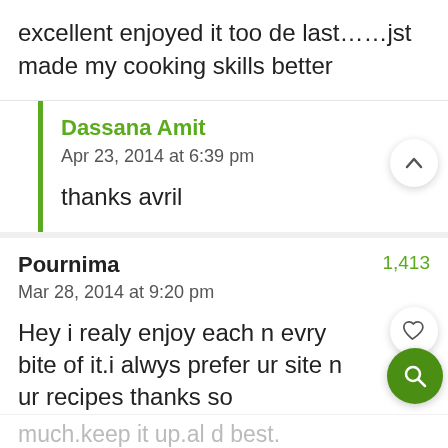excellent enjoyed it too de last......jst made my cooking skills better
Dassana Amit
Apr 23, 2014 at 6:39 pm
thanks avril
Pournima
Mar 28, 2014 at 9:20 pm
Hey i realy enjoy each n evry bite of it.i alwys prefer ur site n ur recipes thanks so much.keep it up.al d best.